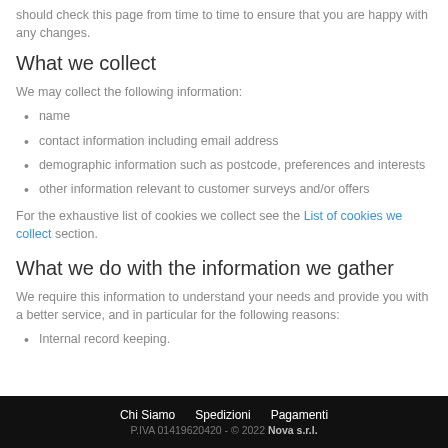should check this page from time to time to ensure that you are happy with any changes.
What we collect
We may collect the following information:
name
contact information including email address
demographic information such as postcode, preferences and interests
other information relevant to customer surveys and/or offers
For the exhaustive list of cookies we collect see the List of cookies we collect section.
What we do with the information we gather
We require this information to understand your needs and provide you with a better service, and in particular for the following reasons:
Internal record keeping.
Chi Siamo   Spedizioni   Pagamenti
P.IVA 01419620420 - © 2022 Nova s.r.l.